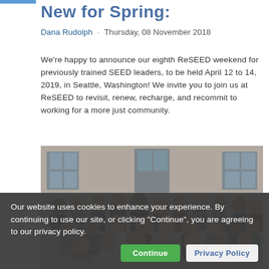New for Spring:
Dana Rudolph · Thursday, 08 November 2018
We're happy to announce our eighth ReSEED weekend for previously trained SEED leaders, to be held April 12 to 14, 2019, in Seattle, Washington! We invite you to join us at ReSEED to revisit, renew, recharge, and recommit to working for a more just community.
[Figure (photo): Group photo of approximately 25 people standing in rows in front of a building with white siding and windows.]
Our website uses cookies to enhance your experience. By continuing to use our site, or clicking "Continue", you are agreeing to our privacy policy.